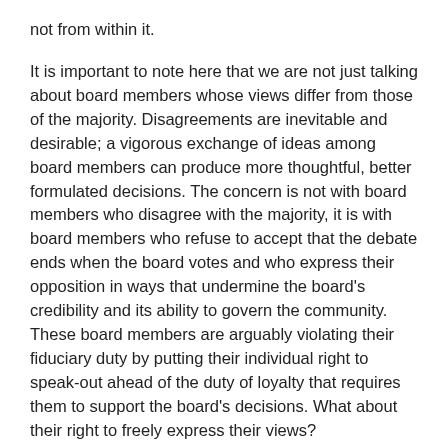not from within it.
It is important to note here that we are not just talking about board members whose views differ from those of the majority. Disagreements are inevitable and desirable; a vigorous exchange of ideas among board members can produce more thoughtful, better formulated decisions. The concern is not with board members who disagree with the majority, it is with board members who refuse to accept that the debate ends when the board votes and who express their opposition in ways that undermine the board's credibility and its ability to govern the community. These board members are arguably violating their fiduciary duty by putting their individual right to speak-out ahead of the duty of loyalty that requires them to support the board's decisions. What about their right to freely express their views?
The court in the Krystkowiak noted properly that people don't check their constitutional rights at the door when they